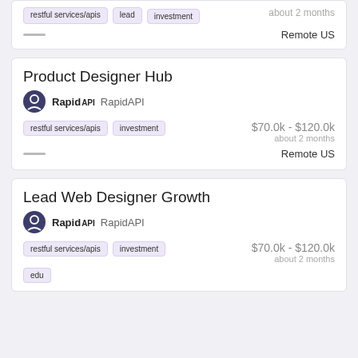restful services/apis | lead | investment | about 2 months | Remote US
Product Designer Hub | RapidAPI | restful services/apis | investment | $70.0k - $120.0k | about 2 months | Remote US
Lead Web Designer Growth | RapidAPI | restful services/apis | investment | edu | $70.0k - $120.0k | about 2 months